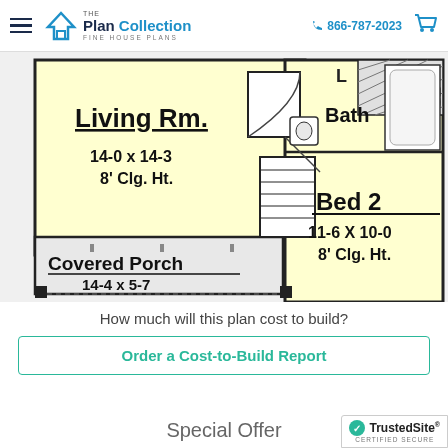The Plan Collection | FINE HOUSE PLANS | 866-787-2023
[Figure (engineering-diagram): Floor plan showing Living Room (14-0 x 14-3, 8' Clg. Ht.), Bath, Bed 2 (11-6 X 10-0, 8' Clg. Ht.), Covered Porch (14-4 x 5-7), and an L-shaped area at top right with stairs.]
How much will this plan cost to build?
Order a Cost-to-Build Report
Special Offer
[Figure (logo): TrustedSite CERTIFIED SECURE badge]